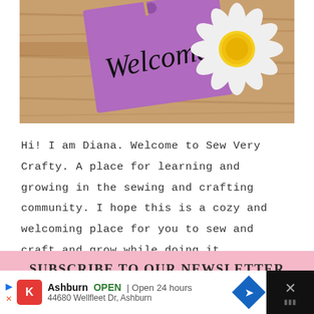[Figure (photo): Welcome sign — purple gift tag with 'Welcome' written in script, daisy flower, on a rustic wooden background]
Hi! I am Diana. Welcome to Sew Very Crafty. A place for learning and growing in the sewing and crafting community. I hope this is a cozy and welcoming place for you to sew and craft and grow while doing it.
SUBSCRIBE TO OUR NEWSLETTER
Email Address *
[Figure (screenshot): Advertisement bar: Kroger store in Ashburn, OPEN, Open 24 hours, 44680 Wellfleet Dr, Ashburn, with navigation icon and close button]